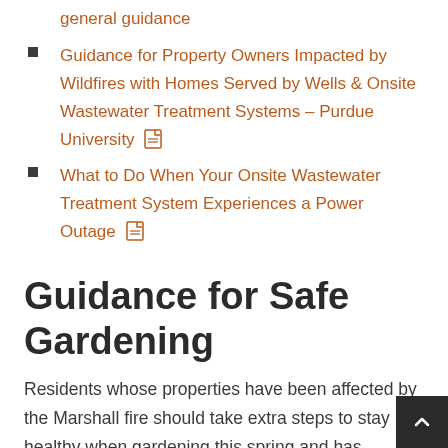general guidance
Guidance for Property Owners Impacted by Wildfires with Homes Served by Wells & Onsite Wastewater Treatment Systems – Purdue University [PDF]
What to Do When Your Onsite Wastewater Treatment System Experiences a Power Outage [PDF]
Guidance for Safe Gardening
Residents whose properties have been affected by the Marshall fire should take extra steps to stay healthy when gardening this spring and has created a flowchart to help assess potential risk.